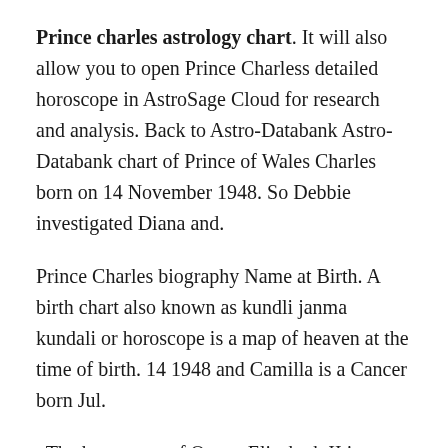Prince charles astrology chart. It will also allow you to open Prince Charless detailed horoscope in AstroSage Cloud for research and analysis. Back to Astro-Databank Astro-Databank chart of Prince of Wales Charles born on 14 November 1948. So Debbie investigated Diana and.
Prince Charles biography Name at Birth. A birth chart also known as kundli janma kundali or horoscope is a map of heaven at the time of birth. 14 1948 and Camilla is a Cancer born Jul.
The horoscope of Queen Elizabeth II is